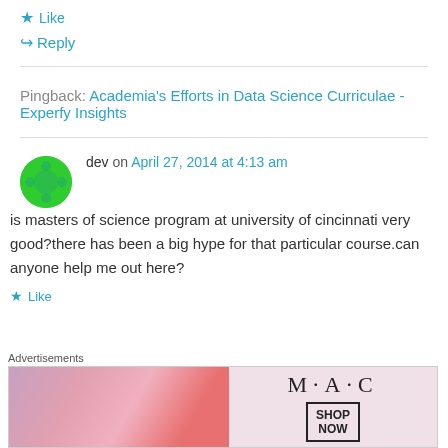★ Like
↪ Reply
Pingback: Academia's Efforts in Data Science Curriculae - Experfy Insights
dev on April 27, 2014 at 4:13 am
is masters of science program at university of cincinnati very good?there has been a big hype for that particular course.can anyone help me out here?
★ Like
[Figure (illustration): MAC Cosmetics advertisement banner with lipsticks and SHOP NOW box]